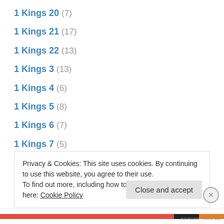1 Kings 20 (7)
1 Kings 21 (17)
1 Kings 22 (13)
1 Kings 3 (13)
1 Kings 4 (6)
1 Kings 5 (8)
1 Kings 6 (7)
1 Kings 7 (5)
1 Kings 8 (12)
1 Kings 9 (8)
1 Maccabees (37)
1 Peter 1 (17)
1 Peter 2 (26)
Privacy & Cookies: This site uses cookies. By continuing to use this website, you agree to their use. To find out more, including how to control cookies, see here: Cookie Policy
Close and accept